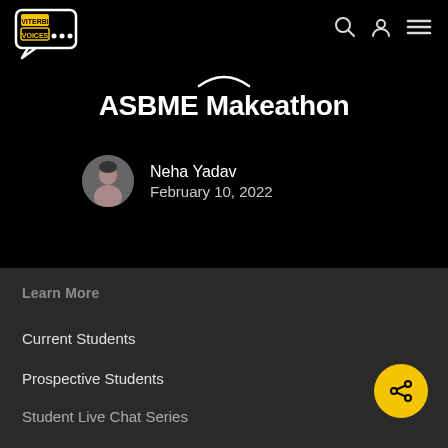Viterbi Voices
ASBME Makeathon
Neha Yadav
February 10, 2022
Learn More
Current Students
Prospective Students
Student Live Chat Series